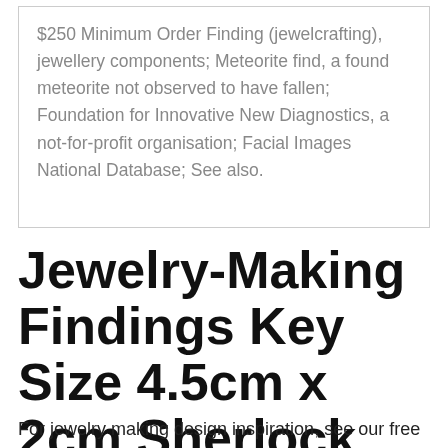$250 Minimum Order Finding (jewelcrafting), jewellery components; Meteorite find, a found meteorite not observed to have fallen; Foundation for Innovative New Diagnostics, a not-for-profit organisation; Facial Images National Database; See also.
Jewelry-Making Findings Key Size 4.5cm x 2cm Sherlock Vintage
For jewelry making design inspiration, see our free